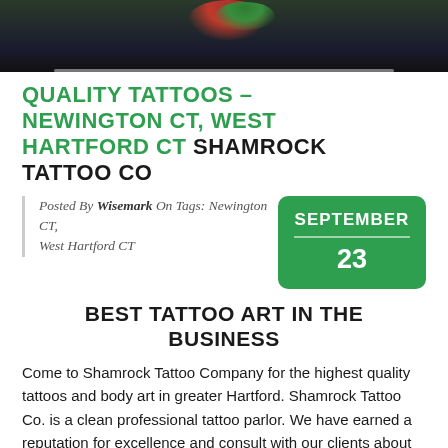[Figure (photo): Cropped top portion of a tattoo photo — dark background with red/green tattoo colors visible at top]
QUALITY TATTOOS – NEWINGTON CT, WEST HARTFORD CT SHAMROCK TATTOO CO
Posted By Wisemark On Tags: Newington CT, West Hartford CT
SEPTEMBER 23
BEST TATTOO ART IN THE BUSINESS
Come to Shamrock Tattoo Company for the highest quality tattoos and body art in greater Hartford. Shamrock Tattoo Co. is a clean professional tattoo parlor. We have earned a reputation for excellence and consult with our clients about their inkings